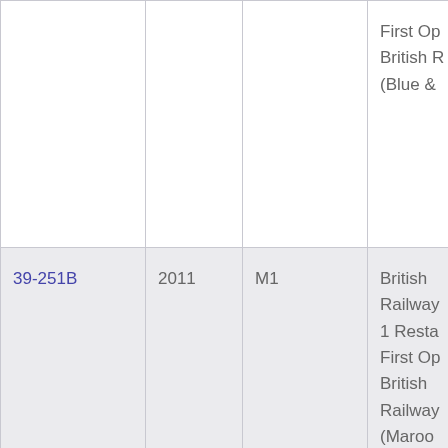| ID | Year | Code | Description |
| --- | --- | --- | --- |
|  |  |  | First Op
British R
(Blue & |
| 39-251B | 2011 | M1 | British 
Railway
1 Resta
First Op
British 
Railway
(Maroo |
| 39-252C | 2012 | M6 | British 
Railway
1 Resta
First Op
British 
Railway
(Gi |